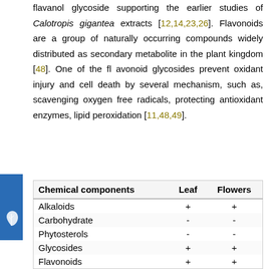flavanol glycoside supporting the earlier studies of Calotropis gigantea extracts [12,14,23,26]. Flavonoids are a group of naturally occurring compounds widely distributed as secondary metabolite in the plant kingdom [48]. One of the flavonoid glycosides prevent oxidant injury and cell death by several mechanism, such as, scavenging oxygen free radicals, protecting antioxidant enzymes, lipid peroxidation [11,48,49].
| Chemical components | Leaf | Flowers |
| --- | --- | --- |
| Alkaloids | + | + |
| Carbohydrate | - | - |
| Phytosterols | - | - |
| Glycosides | + | + |
| Flavonoids | + | + |